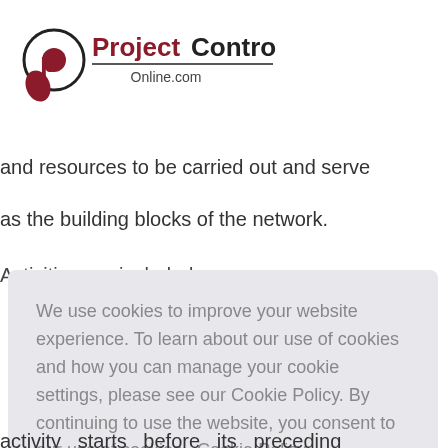ProjectControls Online.com
and resources to be carried out and serve
as the building blocks of the network.
Activities are included …
We use cookies to improve your website experience. To learn about our use of cookies and how you can manage your cookie settings, please see our Cookie Policy. By continuing to use the website, you consent to our use of cookies. Cookie Policy
activity starts before its preceding